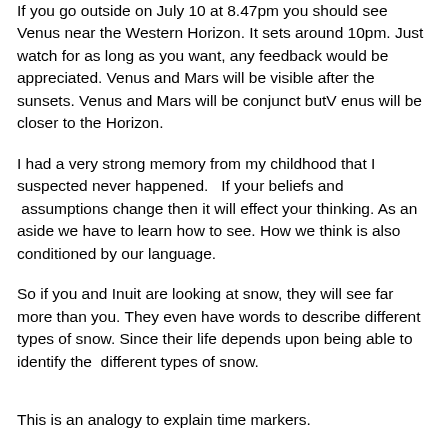If you go outside on July 10 at 8.47pm you should see Venus near the Western Horizon.  It sets around 10pm. Just watch for as long as you want, any feedback would be appreciated. Venus and Mars will be visible after the sunsets. Venus and Mars will be conjunct butV enus will be closer to the Horizon.
I had a very strong memory from my childhood that I suspected never happened.   If your beliefs and  assumptions change then it will effect your thinking. As an aside we have to learn how to see. How we think is also conditioned by our language.
So if you and Inuit are looking at snow, they will see far more than you. They even have words to describe different types of snow. Since their life depends upon being able to identify the  different types of snow.
This is an analogy to explain time markers.
Time markers
The best analogy is music, let's say we divide the audible